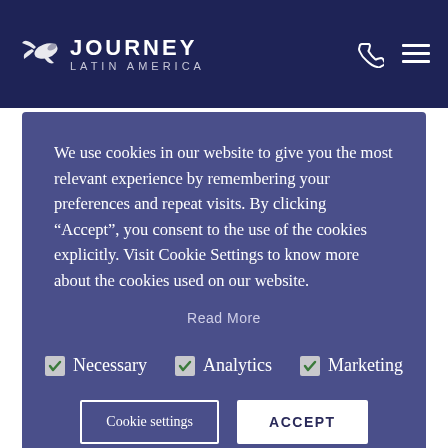[Figure (logo): Journey Latin America logo with stylized bird/hummingbird in white and text JOURNEY LATIN AMERICA on dark navy background]
We use cookies in our website to give you the most relevant experience by remembering your preferences and repeat visits. By clicking “Accept”, you consent to the use of the cookies explicitly. Visit Cookie Settings to know more about the cookies used on our website.
Read More
Necessary   Analytics   Marketing
Cookie settings   ACCEPT
locals congregating to practice everything from Russian to Spanish to French to Portuguese to English, or overflowing with some of Bogota’s finest salsa dancers ramba-ing uninhibitedly to some of